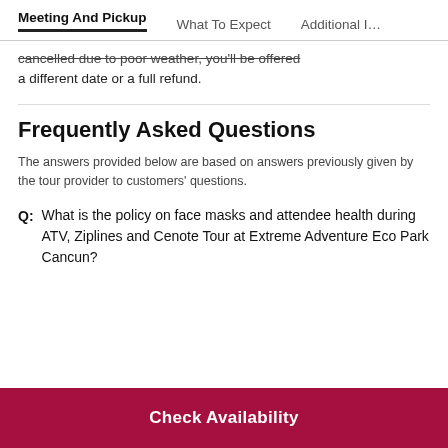Meeting And Pickup | What To Expect | Additional I…
cancelled due to poor weather, you'll be offered a different date or a full refund.
Frequently Asked Questions
The answers provided below are based on answers previously given by the tour provider to customers' questions.
Q: What is the policy on face masks and attendee health during ATV, Ziplines and Cenote Tour at Extreme Adventure Eco Park Cancun?
Check Availability